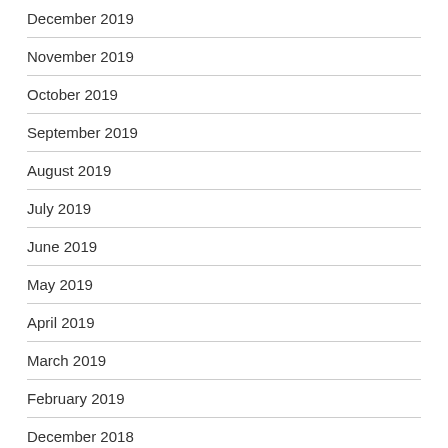December 2019
November 2019
October 2019
September 2019
August 2019
July 2019
June 2019
May 2019
April 2019
March 2019
February 2019
December 2018
October 2018